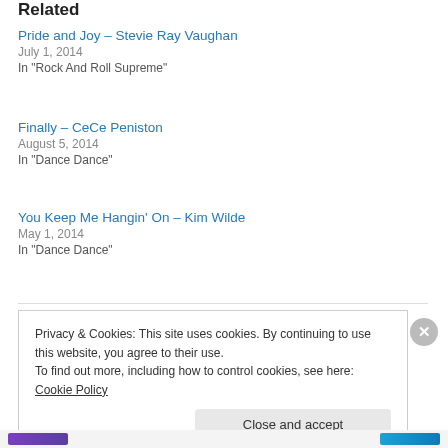Related
Pride and Joy – Stevie Ray Vaughan
July 1, 2014
In "Rock And Roll Supreme"
Finally – CeCe Peniston
August 5, 2014
In "Dance Dance"
You Keep Me Hangin' On – Kim Wilde
May 1, 2014
In "Dance Dance"
Privacy & Cookies: This site uses cookies. By continuing to use this website, you agree to their use.
To find out more, including how to control cookies, see here: Cookie Policy
Close and accept